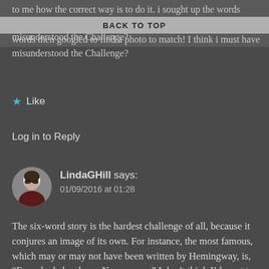to me how the correct way is to do it. i sought up the words then googled to find a photo to match! I think i must have misunderstood the Challenge?
BACK TO TOP
★ Like
Log in to Reply
LindaGHill says: 01/09/2016 at 01:28
The six-word story is the hardest challenge of all, because it conjures an image of its own. For instance, the most famous, which may or may not have been written by Hemingway, is, “For sale: baby shoes. Never worn.” I don’t think I’d want to see an image for that. Your story is a lovely one, but for what you envisioned, the picture is necessary to put it into context. I’m not saying it’s incorrect, it’s just